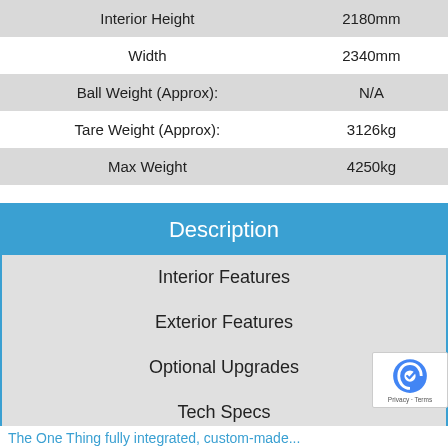| Interior Height | 2180mm |
| Width | 2340mm |
| Ball Weight (Approx): | N/A |
| Tare Weight (Approx): | 3126kg |
| Max Weight | 4250kg |
Description
Interior Features
Exterior Features
Optional Upgrades
Tech Specs
The One Thing fully integrated, custom-made...